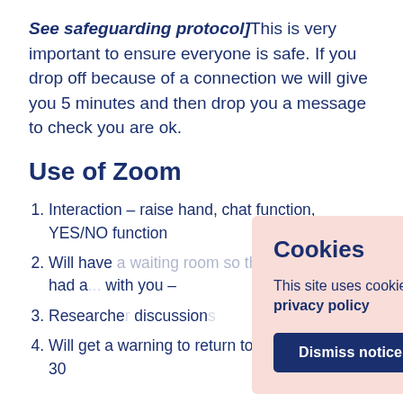[See safeguarding protocol] This is very important to ensure everyone is safe. If you drop off because of a connection we will give you 5 minutes and then drop you a message to check you are ok.
Use of Zoom
Interaction – raise hand, chat function, YES/NO function
Will have ... they may ... have had a ... with you –
Researcher ... discussion...
Will get a warning to return to main session – 30
Cookies
This site uses cookies: See our privacy policy
Dismiss notice